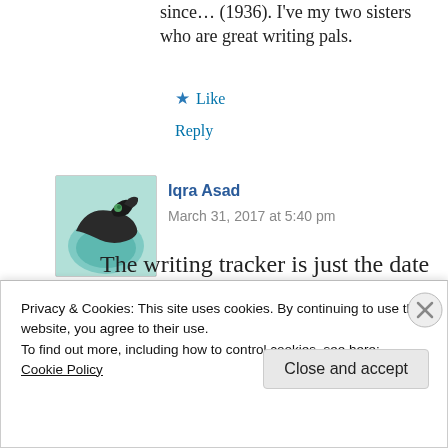since... (1936). I've my two sisters who are great writing pals.
★ Like
Reply
Iqra Asad
March 31, 2017 at 5:40 pm
The writing tracker is just the date with what I've written that day. For
Privacy & Cookies: This site uses cookies. By continuing to use this website, you agree to their use.
To find out more, including how to control cookies, see here: Cookie Policy
Close and accept
All in One Free App
DuckDuckGo